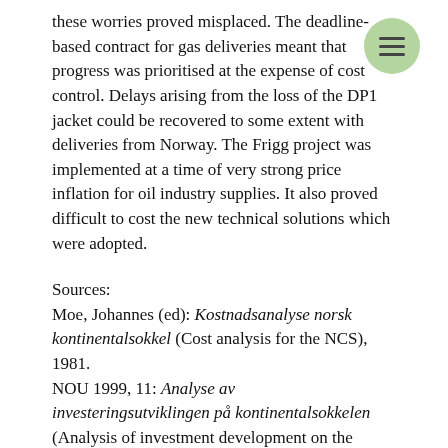these worries proved misplaced. The deadline-based contract for gas deliveries meant that progress was prioritised at the expense of cost control. Delays arising from the loss of the DP1 jacket could be recovered to some extent with deliveries from Norway. The Frigg project was implemented at a time of very strong price inflation for oil industry supplies. It also proved difficult to cost the new technical solutions which were adopted.
Sources:
Moe, Johannes (ed): Kostnadsanalyse norsk kontinentalsokkel (Cost analysis for the NCS), 1981.
NOU 1999, 11: Analyse av investeringsutviklingen på kontinentalsokkelen (Analysis of investment development on the continental shelf).